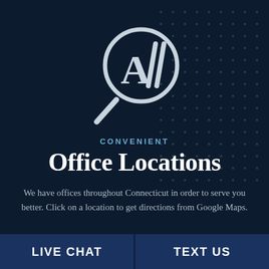[Figure (logo): Magnifying glass icon with 'AI' letters inside the lens, white outline style on dark navy background]
CONVENIENT
Office Locations
We have offices throughout Connecticut in order to serve you better. Click on a location to get directions from Google Maps.
LIVE CHAT   TEXT US